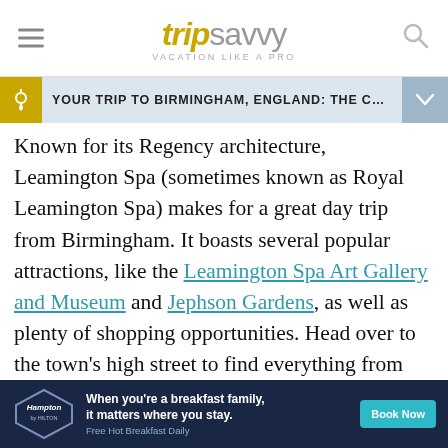tripsavvy VACATION LIKE A PRO
YOUR TRIP TO BIRMINGHAM, ENGLAND: THE C...
Known for its Regency architecture, Leamington Spa (sometimes known as Royal Leamington Spa) makes for a great day trip from Birmingham. It boasts several popular attractions, like the Leamington Spa Art Gallery and Museum and Jephson Gardens, as well as plenty of shopping opportunities. Head over to the town's high street to find everything from designer shops to local boutiques. Those in the market for something more unique should look in Gallery Photiq and Nova Fine Art
[Figure (infographic): Hampton by Hilton advertisement banner: dark navy background with Hampton by Hilton hexagonal logo on left, text 'When you're a breakfast family, it matters where you stay. Free Hot Breakfast Daily' and a teal 'Book Now' button on the right.]